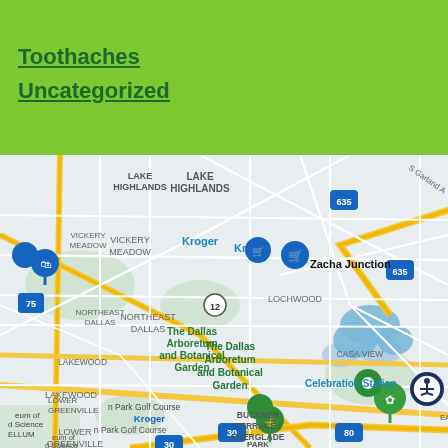Toothaches
Uncategorized
[Figure (map): Google Maps view of northeastern Dallas, TX area showing neighborhoods including Lake Highlands, Vickery Meadow, Northeast Dallas, Lochwood, Lakewood, Lower Greenville, Casa View, Zacha Junction, and Buckner Terrace/Everglade Park. Notable landmarks include The Dallas Arboretum and Botanical Garden, Kroger, Celebration Station, and Park Golf Course. Highways 635, 75, 12, 30, and 80 are visible.]